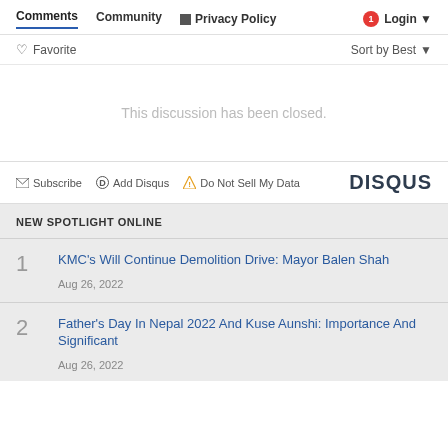Comments | Community | Privacy Policy | Login
♡ Favorite | Sort by Best
This discussion has been closed.
Subscribe | Add Disqus | Do Not Sell My Data | DISQUS
NEW SPOTLIGHT ONLINE
1 KMC's Will Continue Demolition Drive: Mayor Balen Shah Aug 26, 2022
2 Father's Day In Nepal 2022 And Kuse Aunshi: Importance And Significant Aug 26, 2022